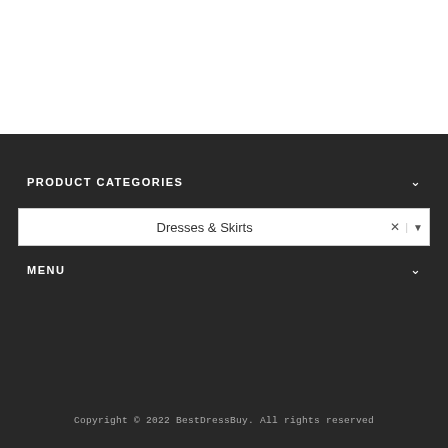PRODUCT CATEGORIES
Dresses & Skirts
MENU
Copyright © 2022 BestDressBuy. All rights reserved